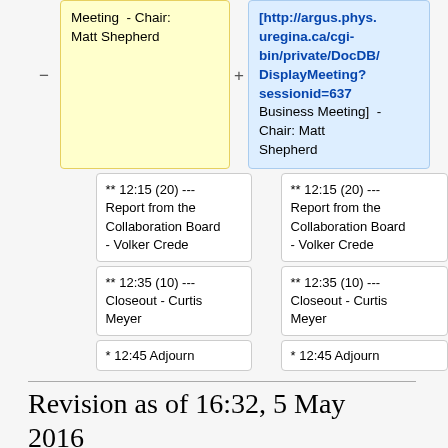Meeting - Chair: Matt Shepherd
[http://argus.phys.uregina.ca/cgi-bin/private/DocDB/DisplayMeeting?sessionid=637 Business Meeting] - Chair: Matt Shepherd
** 12:15 (20) --- Report from the Collaboration Board - Volker Crede
** 12:15 (20) --- Report from the Collaboration Board - Volker Crede
** 12:35 (10) --- Closeout - Curtis Meyer
** 12:35 (10) --- Closeout - Curtis Meyer
* 12:45 Adjourn
* 12:45 Adjourn
Revision as of 16:32, 5 May 2016
| Contents [hide] |
| --- |
| 1 GlueX Collaboration Meeting |